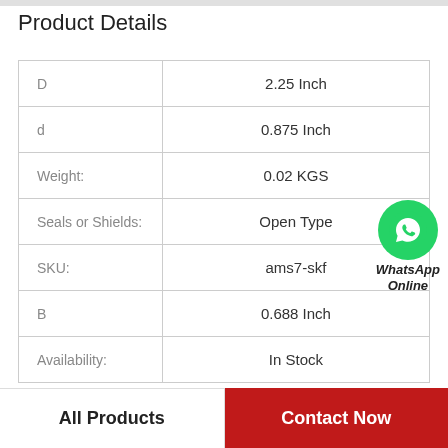Product Details
| Property | Value |
| --- | --- |
| D | 2.25 Inch |
| d | 0.875 Inch |
| Weight: | 0.02 KGS |
| Seals or Shields: | Open Type |
| SKU: | ams7-skf |
| B | 0.688 Inch |
| Availability: | In Stock |
[Figure (logo): WhatsApp Online green circle logo with phone icon and italic bold text 'WhatsApp Online']
All Products
Contact Now